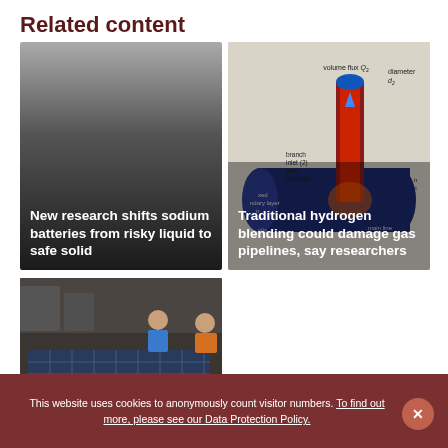Related content
[Figure (photo): Dark gradient image representing sodium battery research, with caption overlay: New research shifts sodium batteries from risky liquid to safe solid]
[Figure (engineering-diagram): 3D engineering diagram of a pipe junction showing volume flux Q2, diameter d2, branch inlet (2) pure hydrogen, boundary layer annotations, and a red/blue colored pipe model. Caption overlay: Traditional hydrogen blending could damage gas pipelines, say researchers]
[Figure (photo): Photo of researchers examining a solar panel on a table in a laboratory setting]
This website uses cookies to anonymously count visitor numbers. To find out more, please see our Data Protection Policy.